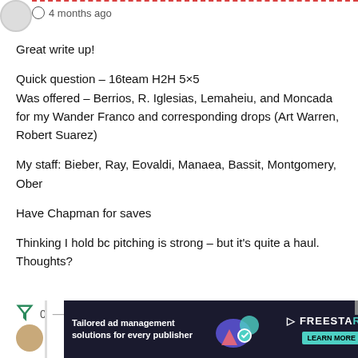4 months ago
Great write up!
Quick question – 16team H2H 5×5
Was offered – Berrios, R. Iglesias, Lemaheiu, and Moncada for my Wander Franco and corresponding drops (Art Warren, Robert Suarez)
My staff: Bieber, Ray, Eovaldi, Manaea, Bassit, Montgomery, Ober
Have Chapman for saves
Thinking I hold bc pitching is strong – but it's quite a haul. Thoughts?
[Figure (infographic): Ad banner: Tailored ad management solutions for every publisher, Freestar branding with teal logo and Learn More button]